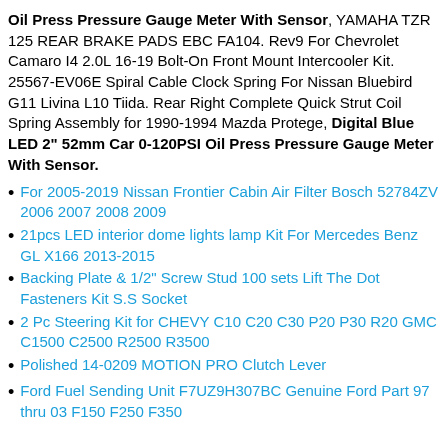Oil Press Pressure Gauge Meter With Sensor, YAMAHA TZR 125 REAR BRAKE PADS EBC FA104. Rev9 For Chevrolet Camaro I4 2.0L 16-19 Bolt-On Front Mount Intercooler Kit. 25567-EV06E Spiral Cable Clock Spring For Nissan Bluebird G11 Livina L10 Tiida. Rear Right Complete Quick Strut Coil Spring Assembly for 1990-1994 Mazda Protege, Digital Blue LED 2" 52mm Car 0-120PSI Oil Press Pressure Gauge Meter With Sensor.
For 2005-2019 Nissan Frontier Cabin Air Filter Bosch 52784ZV 2006 2007 2008 2009
21pcs LED interior dome lights lamp Kit For Mercedes Benz GL X166 2013-2015
Backing Plate & 1/2" Screw Stud 100 sets Lift The Dot Fasteners Kit S.S Socket
2 Pc Steering Kit for CHEVY C10 C20 C30 P20 P30 R20 GMC C1500 C2500 R2500 R3500
Polished 14-0209 MOTION PRO Clutch Lever
Ford Fuel Sending Unit F7UZ9H307BC Genuine Ford Part 97 thru 03 F150 F250 F350